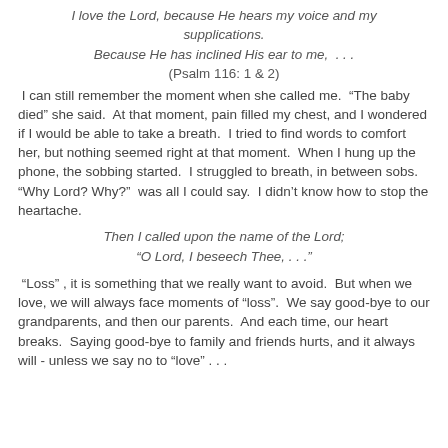I love the Lord, because He hears my voice and my supplications.
Because He has inclined His ear to me,  . . .
(Psalm 116: 1 & 2)
I can still remember the moment when she called me.  “The baby died” she said.  At that moment, pain filled my chest, and I wondered if I would be able to take a breath.  I tried to find words to comfort her, but nothing seemed right at that moment.  When I hung up the phone, the sobbing started.  I struggled to breath, in between sobs.  “Why Lord? Why?”  was all I could say.  I didn’t know how to stop the heartache.
Then I called upon the name of the Lord;
“O Lord, I beseech Thee, . . .”
“Loss” , it is something that we really want to avoid.  But when we love, we will always face moments of “loss”.  We say good-bye to our grandparents, and then our parents.  And each time, our heart breaks.  Saying good-bye to family and friends hurts, and it always will - unless we say no to “love” . . .